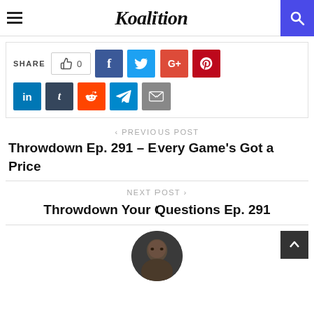Koalition
[Figure (other): Share buttons row 1: thumbs up with count 0, Facebook, Twitter, Google+, Pinterest; row 2: LinkedIn, Tumblr, Reddit, Telegram, Email]
< PREVIOUS POST
Throwdown Ep. 291 – Every Game's Got a Price
NEXT POST >
Throwdown Your Questions Ep. 291
[Figure (photo): Circular avatar photo of a man]